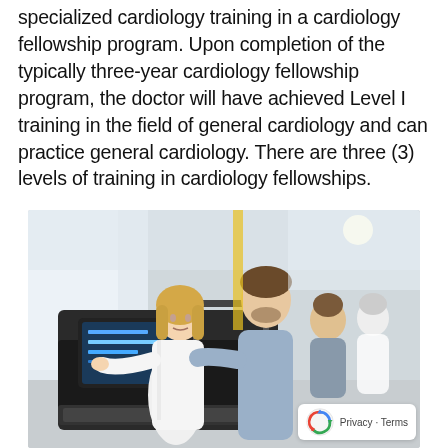specialized cardiology training in a cardiology fellowship program. Upon completion of the typically three-year cardiology fellowship program, the doctor will have achieved Level I training in the field of general cardiology and can practice general cardiology. There are three (3) levels of training in cardiology fellowships.
[Figure (photo): A female doctor in a white coat standing next to a male patient on a treadmill in a cardiology/cardiac rehabilitation setting. In the background, two other people are visible. A reCAPTCHA-style privacy badge is visible in the bottom right corner.]